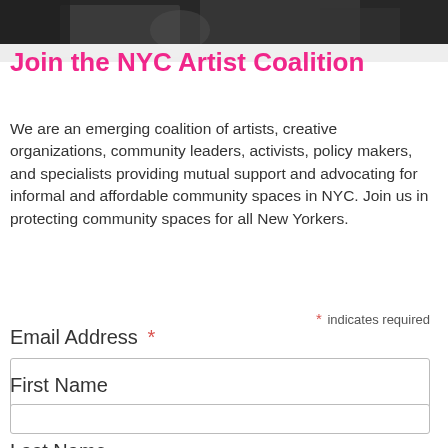[Figure (photo): Dark photographic banner image at top of page showing blurred figures, likely artists]
Join the NYC Artist Coalition
We are an emerging coalition of artists, creative organizations, community leaders, activists, policy makers, and specialists providing mutual support and advocating for informal and affordable community spaces in NYC. Join us in protecting community spaces for all New Yorkers.
* indicates required
Email Address *
First Name
Last Name